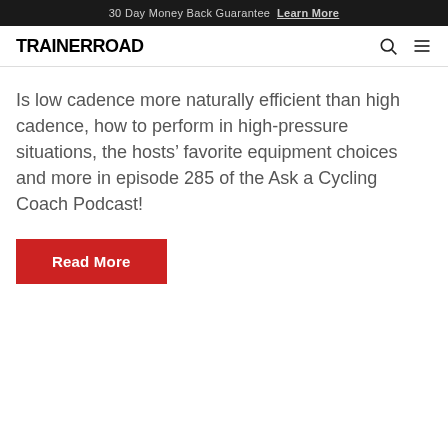30 Day Money Back Guarantee  Learn More
TRAINERROAD
Is low cadence more naturally efficient than high cadence, how to perform in high-pressure situations, the hosts’ favorite equipment choices and more in episode 285 of the Ask a Cycling Coach Podcast!
Read More